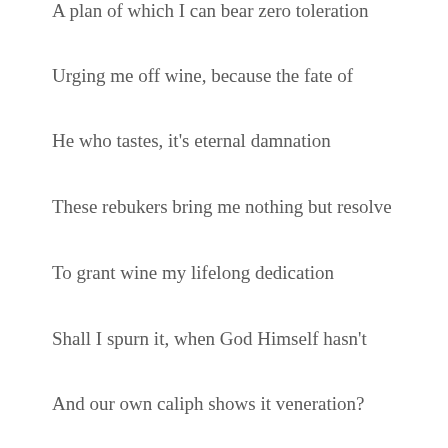A plan of which I can bear zero toleration
Urging me off wine, because the fate of
He who tastes, it's eternal damnation
These rebukers bring me nothing but resolve
To grant wine my lifelong dedication
Shall I spurn it, when God Himself hasn't
And our own caliph shows it veneration?